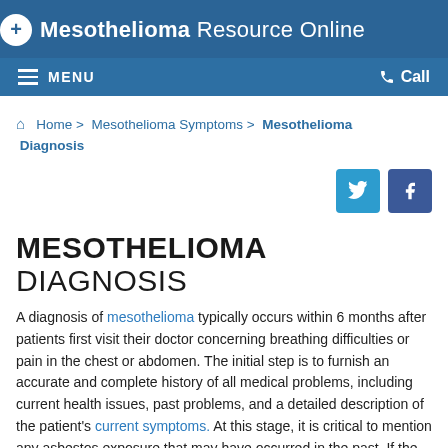Mesothelioma Resource Online
≡ MENU   📞 Call
🏠 Home > Mesothelioma Symptoms > Mesothelioma Diagnosis
[Figure (logo): Twitter and Facebook social share buttons]
MESOTHELIOMA DIAGNOSIS
A diagnosis of mesothelioma typically occurs within 6 months after patients first visit their doctor concerning breathing difficulties or pain in the chest or abdomen. The initial step is to furnish an accurate and complete history of all medical problems, including current health issues, past problems, and a detailed description of the patient's current symptoms. At this stage, it is critical to mention any asbestos exposure that may have occurred in the past. If the doctor is aware that